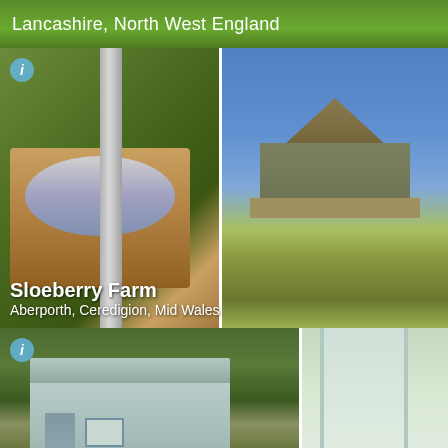Lancashire, North West England
[Figure (photo): Two-panel photo: left shows a wooden hot tub with stainless steel chimney pipe surrounded by greenery; right shows a safari-style elevated tent lodge on wooden deck in an open field with picnic tables]
Sloeberry Farm
Aberporth, Ceredigion, Mid Wales
[Figure (photo): Two-panel photo: left shows a pale blue shepherd's hut with metal roof surrounded by trees; right shows a close-up of white painted wooden door/shed panels with green foliage in background]